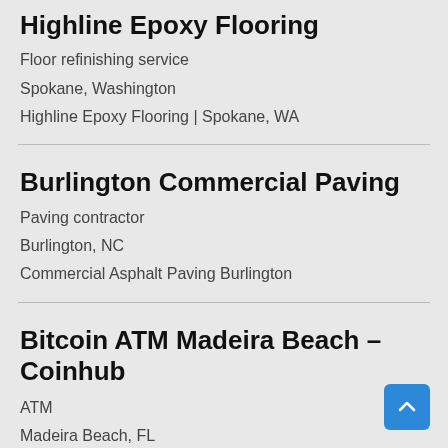Highline Epoxy Flooring
Floor refinishing service
Spokane, Washington
Highline Epoxy Flooring | Spokane, WA
Burlington Commercial Paving
Paving contractor
Burlington, NC
Commercial Asphalt Paving Burlington
Bitcoin ATM Madeira Beach – Coinhub
ATM
Madeira Beach, FL